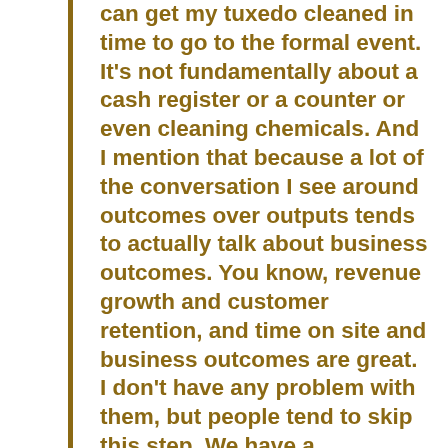can get my tuxedo cleaned in time to go to the formal event. It's not fundamentally about a cash register or a counter or even cleaning chemicals. And I mention that because a lot of the conversation I see around outcomes over outputs tends to actually talk about business outcomes. You know, revenue growth and customer retention, and time on site and business outcomes are great. I don't have any problem with them, but people tend to skip this step. We have a hypothesis that this feature will cause this change in customer behavior, which will lead to this business outcome or business impact. But it leaves open the question of, well,